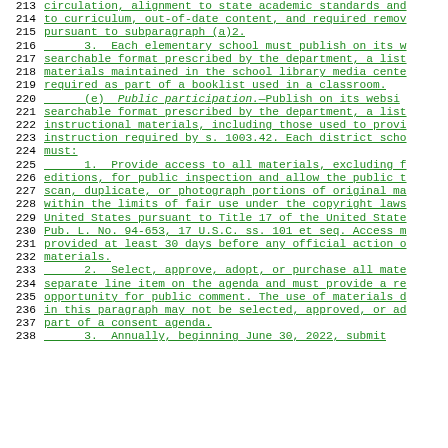213  circulation, alignment to state academic standards and
214  to curriculum, out-of-date content, and required remov
215  pursuant to subparagraph (a)2.
216       3. Each elementary school must publish on its w
217  searchable format prescribed by the department, a list
218  materials maintained in the school library media cente
219  required as part of a booklist used in a classroom.
220       (e) Public participation.—Publish on its websi
221  searchable format prescribed by the department, a list
222  instructional materials, including those used to provi
223  instruction required by s. 1003.42. Each district scho
224  must:
225       1. Provide access to all materials, excluding f
226  editions, for public inspection and allow the public t
227  scan, duplicate, or photograph portions of original ma
228  within the limits of fair use under the copyright laws
229  United States pursuant to Title 17 of the United State
230  Pub. L. No. 94-653, 17 U.S.C. ss. 101 et seq. Access m
231  provided at least 30 days before any official action o
232  materials.
233       2. Select, approve, adopt, or purchase all mate
234  separate line item on the agenda and must provide a re
235  opportunity for public comment. The use of materials d
236  in this paragraph may not be selected, approved, or ad
237  part of a consent agenda.
238       3. Annually, beginning June 30, 2022, submit